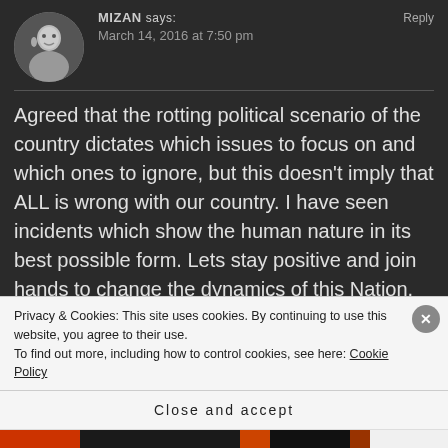[Figure (photo): Circular avatar photo of a person, black and white, dark background]
MIZAN says:
Reply
March 14, 2016 at 7:50 pm
Agreed that the rotting political scenario of the country dictates which issues to focus on and which ones to ignore, but this doesn’t imply that ALL is wrong with our country. I have seen incidents which show the human nature in its best possible form. Lets stay positive and join hands to change the dynamics of this Nation. Jai Hind.
Privacy & Cookies: This site uses cookies. By continuing to use this website, you agree to their use.
To find out more, including how to control cookies, see here: Cookie Policy
Close and accept